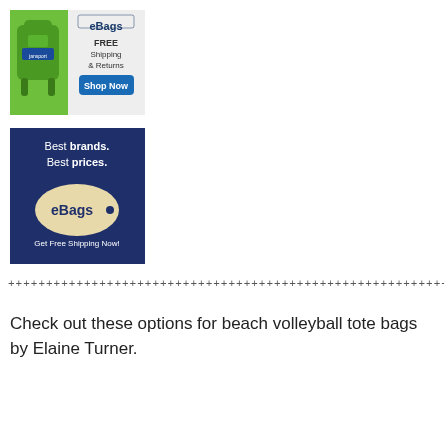[Figure (illustration): eBags advertisement banner showing a green backpack with text 'eBags FREE Shipping & Returns Shop Now']
[Figure (illustration): eBags advertisement banner with dark blue background showing 'Best brands. Best prices.' with an eBags tag logo and 'Get Free Shipping Now!']
+++++++++++++++++++++++++++++++++++++++++++++++
Check out these options for beach volleyball tote bags by Elaine Turner.